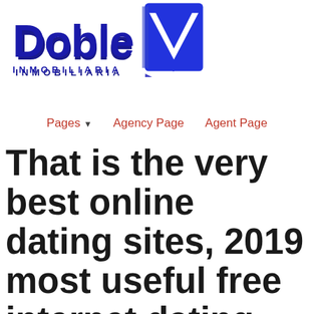[Figure (logo): Doble V Inmobiliaria logo — bold dark blue text 'Doble' with 'INMOBILIARIA' below in spaced caps, and a stylized blue double-V chevron icon to the right]
Pages ▼    Agency Page    Agent Page
That is the very best online dating sites, 2019 most useful free internet dating sites for ranchers, how exactly